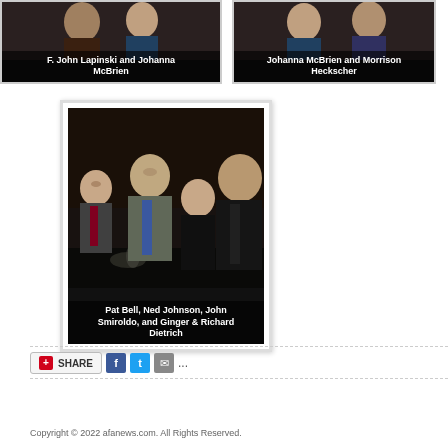[Figure (photo): Photo of F. John Lapinski and Johanna McBrien at an event]
F. John Lapinski and Johanna McBrien
[Figure (photo): Photo of Johanna McBrien and Morrison Heckscher at an event]
Johanna McBrien and Morrison Heckscher
[Figure (photo): Group photo of Pat Bell, Ned Johnson, John Smiroldo, and Ginger & Richard Dietrich at a dinner event]
Pat Bell, Ned Johnson, John Smiroldo, and Ginger & Richard Dietrich
SHARE
Copyright © 2022 afanews.com. All Rights Reserved.